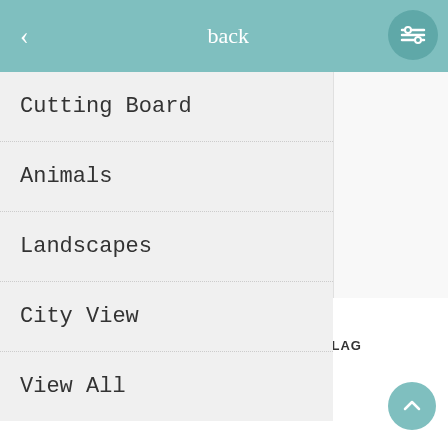< back
Cutting Board
Animals
Landscapes
City View
View All
CANVAS EAGLE AND AMERICAN FLAG
RON70.00